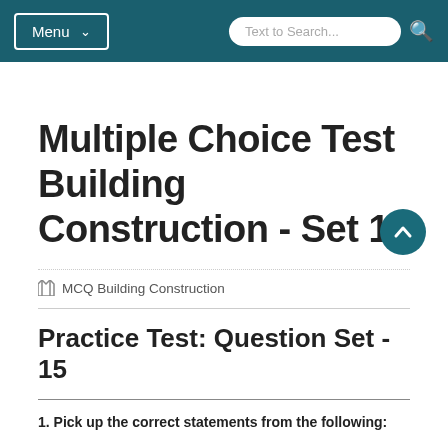Menu | Text to Search...
Multiple Choice Test Building Construction - Set 15
MCQ Building Construction
Practice Test: Question Set - 15
1. Pick up the correct statements from the following: